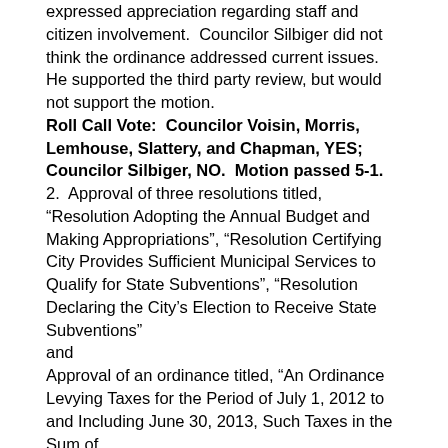expressed appreciation regarding staff and citizen involvement.  Councilor Silbiger did not think the ordinance addressed current issues.  He supported the third party review, but would not support the motion. Roll Call Vote:  Councilor Voisin, Morris, Lemhouse, Slattery, and Chapman, YES; Councilor Silbiger, NO.  Motion passed 5-1.
2.  Approval of three resolutions titled, “Resolution Adopting the Annual Budget and Making Appropriations”, “Resolution Certifying City Provides Sufficient Municipal Services to Qualify for State Subventions”, “Resolution Declaring the City’s Election to Receive State Subventions” and Approval of an ordinance titled, “An Ordinance Levying Taxes for the Period of July 1, 2012 to and Including June 30, 2013, Such Taxes in the Sum of